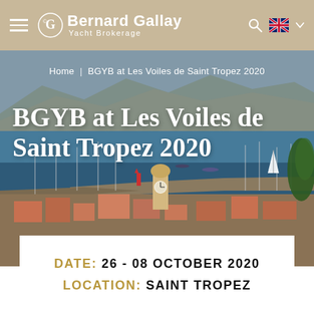Bernard Gallay Yacht Brokerage
Home | BGYB at Les Voiles de Saint Tropez 2020
BGYB at Les Voiles de Saint Tropez 2020
[Figure (photo): Aerial/elevated view of Saint Tropez harbor with yachts and sailboats moored, Mediterranean sea, old town rooftops and a clock tower in the foreground, mountains in the background]
DATE: 26 - 08 OCTOBER 2020
LOCATION: SAINT TROPEZ